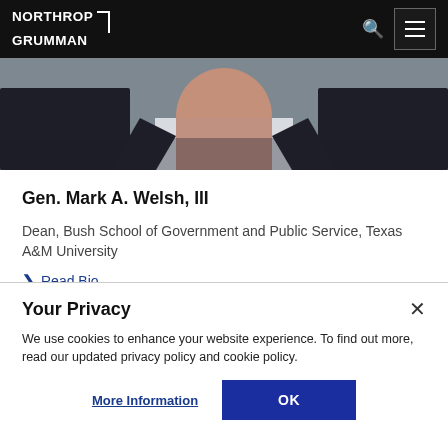Northrop Grumman
[Figure (photo): Partial photo of a man in dark suit and white shirt, cropped to chin area, gray background]
Gen. Mark A. Welsh, III
Dean, Bush School of Government and Public Service, Texas A&M University
Read Bio
Your Privacy
We use cookies to enhance your website experience. To find out more, read our updated privacy policy and cookie policy.
More Information | OK